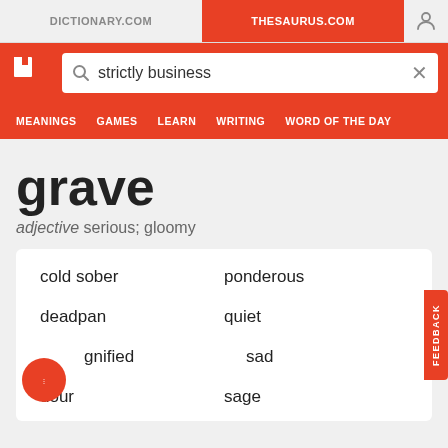DICTIONARY.COM | THESAURUS.COM
[Figure (screenshot): Thesaurus.com website header with logo, search bar showing 'strictly business', and navigation menu with MEANINGS, GAMES, LEARN, WRITING, WORD OF THE DAY]
grave
adjective serious; gloomy
cold sober
ponderous
deadpan
quiet
dignified
sad
dour
sage